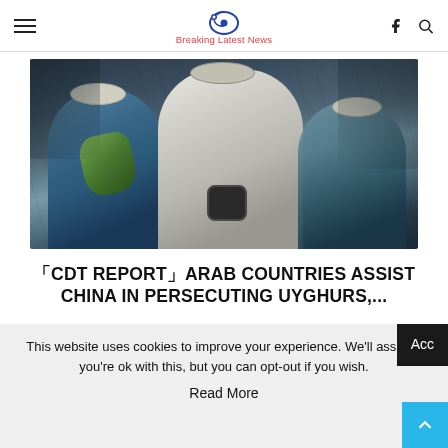Breaking Latest News
[Figure (illustration): Painted illustration of three men wearing traditional caps, sitting together; the central figure holds a dark object; dark sketchy background]
「CDT REPORT」ARAB COUNTRIES ASSIST CHINA IN PERSECUTING UYGHURS,...
September 4, 2022
This website uses cookies to improve your experience. We'll assume you're ok with this, but you can opt-out if you wish.
Read More